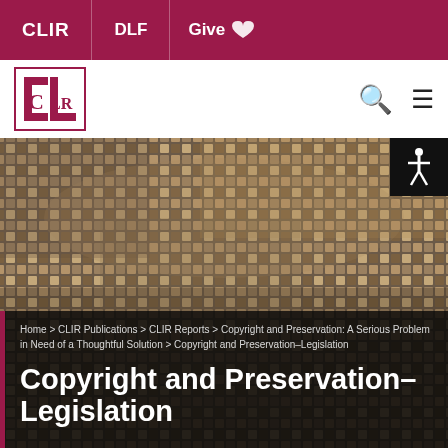CLIR | DLF | Give
[Figure (logo): CLIR logo: stylized letters C, L, R in a bordered box]
Home > CLIR Publications > CLIR Reports > Copyright and Preservation: A Serious Problem in Need of a Thoughtful Solution > Copyright and Preservation–Legislation
Copyright and Preservation–Legislation
[Figure (photo): Mosaic tile background image showing stone/tile pattern in earth tones]